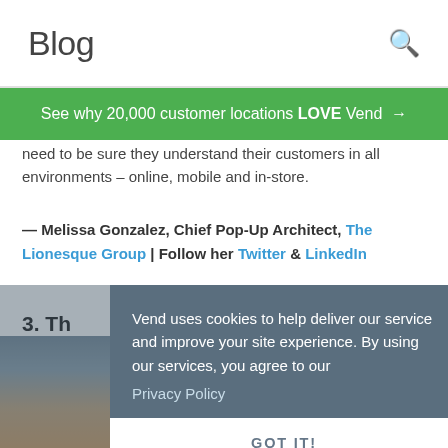Blog
See why 20,000 customer locations LOVE Vend →
need to be sure they understand their customers in all environments – online, mobile and in-store.
— Melissa Gonzalez, Chief Pop-Up Architect, The Lionesque Group | Follow her Twitter & LinkedIn
3. Th[...] are c[...]
[Figure (photo): Partial photo of a person at bottom of page]
Vend uses cookies to help deliver our service and improve your site experience. By using our services, you agree to our Privacy Policy
GOT IT!